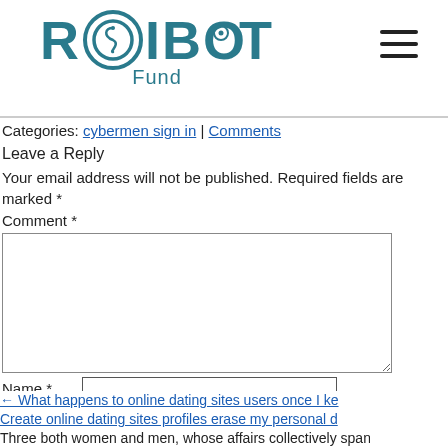ROIBOT Fund
Categories: cybermen sign in | Comments
Leave a Reply
Your email address will not be published. Required fields are marked *
Comment *
Name *
Email *
Website
Post Comment
← What happens to online dating sites users once I ke
Create online dating sites profiles erase my personal d
Three both women and men, whose affairs collectively span